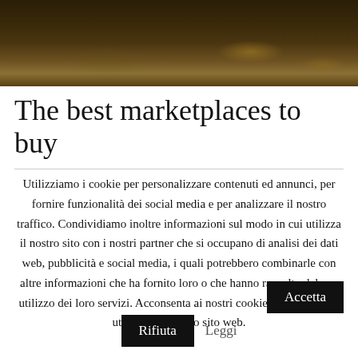[Figure (photo): Dark nature photo banner showing a forest floor with fallen leaves in dark brown and gold tones]
The best marketplaces to buy
Utilizziamo i cookie per personalizzare contenuti ed annunci, per fornire funzionalità dei social media e per analizzare il nostro traffico. Condividiamo inoltre informazioni sul modo in cui utilizza il nostro sito con i nostri partner che si occupano di analisi dei dati web, pubblicità e social media, i quali potrebbero combinarle con altre informazioni che ha fornito loro o che hanno raccolto dal suo utilizzo dei loro servizi. Acconsenta ai nostri cookie se continua ad utilizzare il nostro sito web.
Accetta
Rifiuta
Leggi